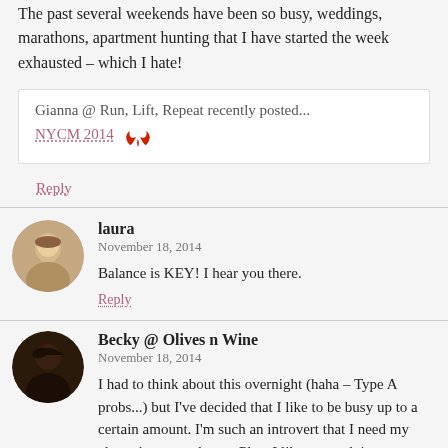The past several weekends have been so busy, weddings, marathons, apartment hunting that I have started the week exhausted – which I hate!
Gianna @ Run, Lift, Repeat recently posted... NYCM 2014
Reply
laura
November 18, 2014
Balance is KEY! I hear you there.
Reply
Becky @ Olives n Wine
November 18, 2014
I had to think about this overnight (haha – Type A probs...) but I've decided that I like to be busy up to a certain amount. I'm such an introvert that I need my alone time to recharge. Plus, I like to sneak in a nap or two on the weekends. I think a